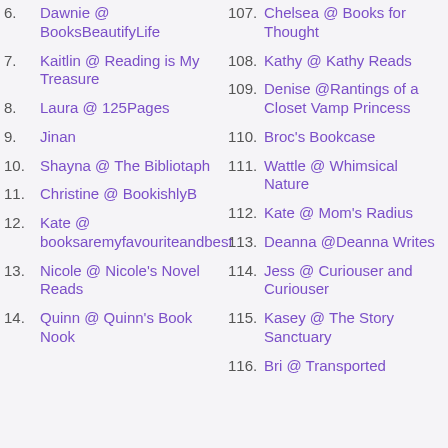6. Dawnie @ BooksBeautifyLife
7. Kaitlin @ Reading is My Treasure
8. Laura @ 125Pages
9. Jinan
10. Shayna @ The Bibliotaph
11. Christine @ BookishlyB
12. Kate @ booksaremyfavouriteandbest
13. Nicole @ Nicole's Novel Reads
14. Quinn @ Quinn's Book Nook
107. Chelsea @ Books for Thought
108. Kathy @ Kathy Reads
109. Denise @Rantings of a Closet Vamp Princess
110. Broc's Bookcase
111. Wattle @ Whimsical Nature
112. Kate @ Mom's Radius
113. Deanna @Deanna Writes
114. Jess @ Curiouser and Curiouser
115. Kasey @ The Story Sanctuary
116. Bri @ Transported